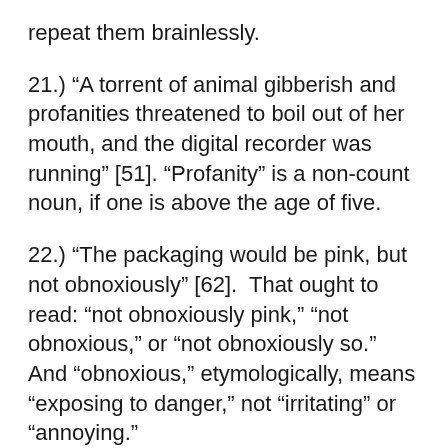repeat them brainlessly.
21.) “A torrent of animal gibberish and profanities threatened to boil out of her mouth, and the digital recorder was running” [51]. “Profanity” is a non-count noun, if one is above the age of five.
22.) “The packaging would be pink, but not obnoxiously” [62].  That ought to read: “not obnoxiously pink,” “not obnoxious,” or “not obnoxiously so.”  And “obnoxious,” etymologically, means “exposing to danger,” not “irritating” or “annoying.”